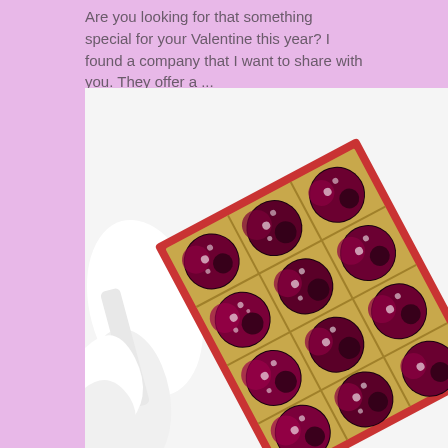Are you looking for that something special for your Valentine this year? I found a company that I want to share with you. They offer a ...
[Figure (photo): A box of dark chocolate truffles with red and purple swirled decoration and white sugar pearl dots, arranged in a gold foil tray inside a red and white box, photographed at an angle on a white background.]